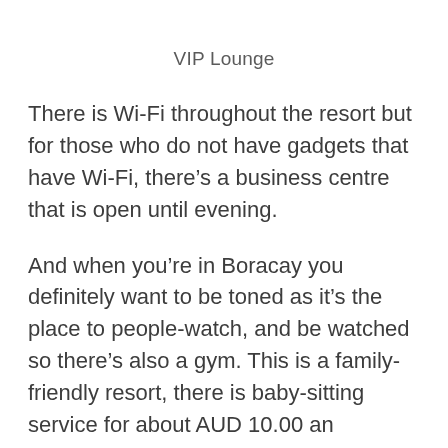VIP Lounge
There is Wi-Fi throughout the resort but for those who do not have gadgets that have Wi-Fi, there’s a business centre that is open until evening.
And when you’re in Boracay you definitely want to be toned as it’s the place to people-watch, and be watched so there’s also a gym. This is a family-friendly resort, there is baby-sitting service for about AUD 10.00 an